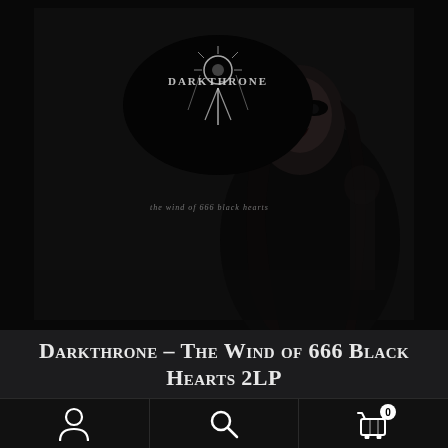[Figure (photo): Album cover for Darkthrone – The Wind of 666 Black Hearts 2LP. Dark black-and-white image featuring a person with long dark hair and corpse paint against a dark background. The Darkthrone logo appears at the top in white jagged lettering. Subtitle text reads 'the wind of 666 black hearts' in small handwritten-style lettering. Overall very dark, black metal aesthetic.]
Darkthrone – The Wind of 666 Black Hearts 2LP